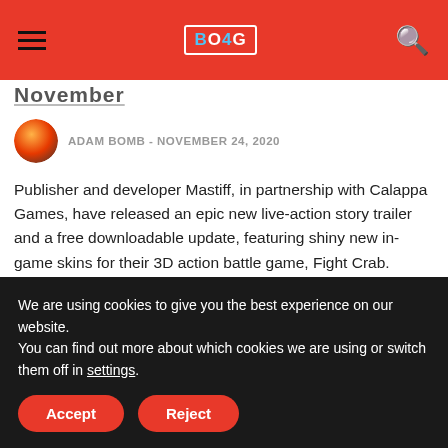BOYG [logo] — navigation header with hamburger menu and search icon
November
ADAM BOMB  -  NOVEMBER 24, 2020
Publisher and developer Mastiff, in partnership with Calappa Games, have released an epic new live-action story trailer and a free downloadable update, featuring shiny new in-game skins for their 3D action battle game, Fight Crab. Check out the trailer below.  ...
1   2   3   →
We are using cookies to give you the best experience on our website.
You can find out more about which cookies we are using or switch them off in settings.